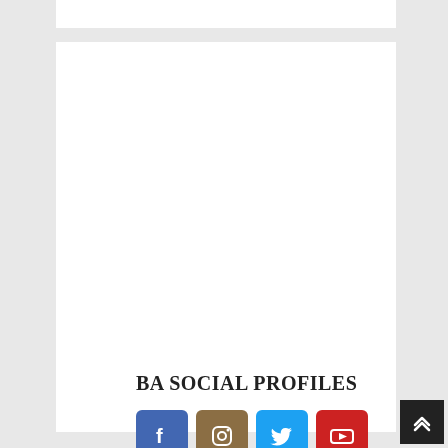BA SOCIAL PROFILES
[Figure (infographic): Row of four social media icon buttons: Facebook (blue), Instagram (brown), Twitter (light blue), YouTube (red)]